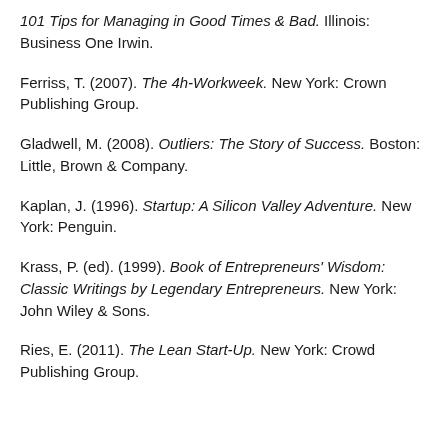101 Tips for Managing in Good Times & Bad. Illinois: Business One Irwin.
Ferriss, T. (2007). The 4h-Workweek. New York: Crown Publishing Group.
Gladwell, M. (2008). Outliers: The Story of Success. Boston: Little, Brown & Company.
Kaplan, J. (1996). Startup: A Silicon Valley Adventure. New York: Penguin.
Krass, P. (ed). (1999). Book of Entrepreneurs' Wisdom: Classic Writings by Legendary Entrepreneurs. New York: John Wiley & Sons.
Ries, E. (2011). The Lean Start-Up. New York: Crowd Publishing Group.